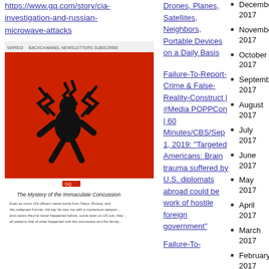https://www.gq.com/story/cia-investigation-and-russian-microwave-attacks
[Figure (screenshot): Screenshot of GQ article 'The Mystery of the Immaculate Concussion' with red background image of a silhouette figure with lightning bolts around its head]
Screenshot, GQ/https://www.gq.com/story/cia-investigation-and-russian-microwave-attacks
So the obfuscation
Drones, Planes, Satellites, Neighbors, Portable Devices on a Daily Basis
Failure-To-Report-Crime & False-Reality-Construct | #Media POPPCon | 60 Minutes/CBS/Sep 1, 2019: "Targeted Americans: Brain trauma suffered by U.S. diplomats abroad could be work of hostile foreign government"
Failure-To-
December 2017
November 2017
October 2017
September 2017
August 2017
July 2017
June 2017
May 2017
April 2017
March 2017
February 2017
January 2017